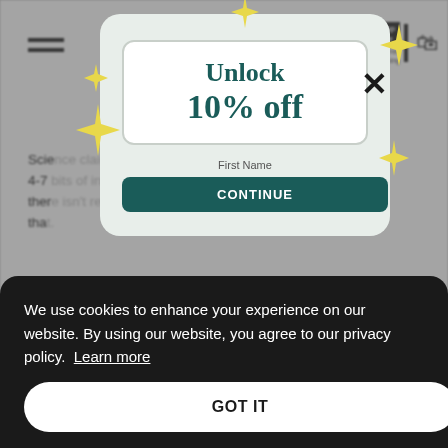Neuro
Science claims we can remember roughly 4-7 bits of information at one time, and there isn't really a way to effectively increase that.
There is a way to get around it, though. Chunking basically refers to taking larger bits of information...
[Figure (screenshot): Popup modal with 'Unlock 10% off' offer on a light green background, with decorative gold sparkle stars, a white rounded card containing the offer text, a First Name input field, a CONTINUE button, and an X close button.]
We use cookies to enhance your experience on our website. By using our website, you agree to our privacy policy. Learn more
GOT IT